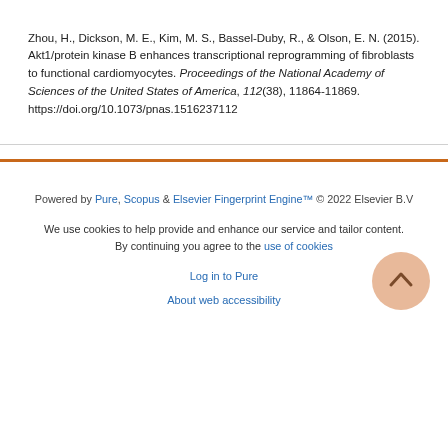Zhou, H., Dickson, M. E., Kim, M. S., Bassel-Duby, R., & Olson, E. N. (2015). Akt1/protein kinase B enhances transcriptional reprogramming of fibroblasts to functional cardiomyocytes. Proceedings of the National Academy of Sciences of the United States of America, 112(38), 11864-11869. https://doi.org/10.1073/pnas.1516237112
Powered by Pure, Scopus & Elsevier Fingerprint Engine™ © 2022 Elsevier B.V
We use cookies to help provide and enhance our service and tailor content. By continuing you agree to the use of cookies
Log in to Pure
About web accessibility